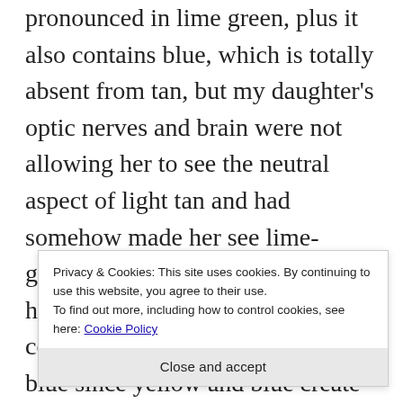pronounced in lime green, plus it also contains blue, which is totally absent from tan, but my daughter's optic nerves and brain were not allowing her to see the neutral aspect of light tan and had somehow made her see lime-green. This told me my daughter has problem seeing shades of the color yellow and also probably blue since yellow and blue create green, and if you use more yellow than blue you can create a lime-green. I was sold on blur lens in that instant. Post... your Facebook, Twitter, and all other social
Privacy & Cookies: This site uses cookies. By continuing to use this website, you agree to their use. To find out more, including how to control cookies, see here: Cookie Policy
Close and accept